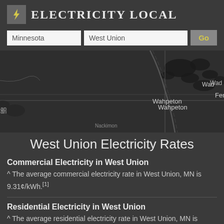Electricity Local
Minnesota | West Union | Go
[Figure (map): Dark-themed map showing region around West Union, Minnesota, with place labels Wahpeton, Fergus Falls, Wad (partially visible), and an area label 'an' on left edge. Roads and water bodies visible.]
West Union Electricity Rates
Commercial Electricity in West Union
^ The average commercial electricity rate in West Union, MN is 9.31¢/kWh.[1]
Residential Electricity in West Union
^ The average residential electricity rate in West Union, MN is